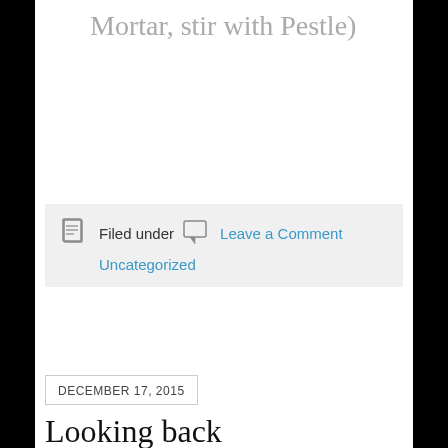Mortar, stir with Pestle)
Filed under   Leave a Comment
Uncategorized
DECEMBER 17, 2015
Looking back
When recalling where we came from to get where we are, my memories are of an unbroken string of gems, beads, and stones. All the moments and memories, good and bad, rough and polished, lead to